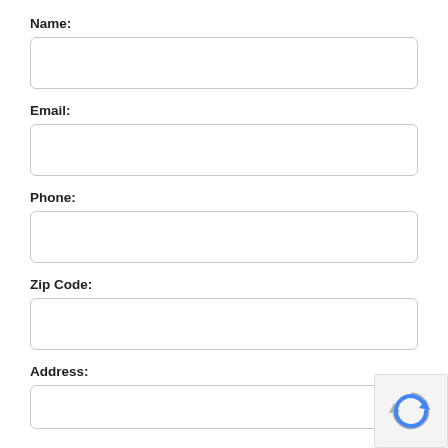Name:
[Figure (other): Empty text input field for Name]
Email:
[Figure (other): Empty text input field for Email]
Phone:
[Figure (other): Empty text input field for Phone]
Zip Code:
[Figure (other): Empty text input field for Zip Code]
Address:
[Figure (other): Empty text input field for Address]
[Figure (logo): reCAPTCHA badge with circular arrow icon]